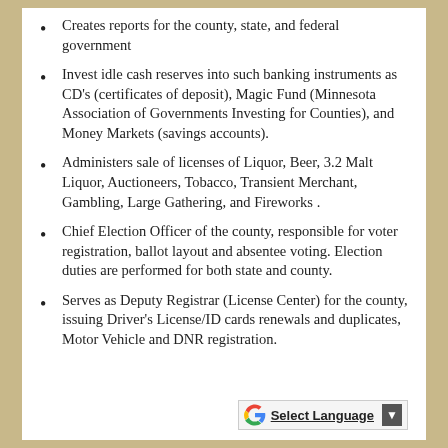Creates reports for the county, state, and federal government
Invest idle cash reserves into such banking instruments as CD's (certificates of deposit), Magic Fund (Minnesota Association of Governments Investing for Counties), and Money Markets (savings accounts).
Administers sale of licenses of Liquor, Beer, 3.2 Malt Liquor, Auctioneers, Tobacco, Transient Merchant, Gambling, Large Gathering, and Fireworks .
Chief Election Officer of the county, responsible for voter registration, ballot layout and absentee voting. Election duties are performed for both state and county.
Serves as Deputy Registrar (License Center) for the county, issuing Driver's License/ID cards renewals and duplicates, Motor Vehicle and DNR registration.